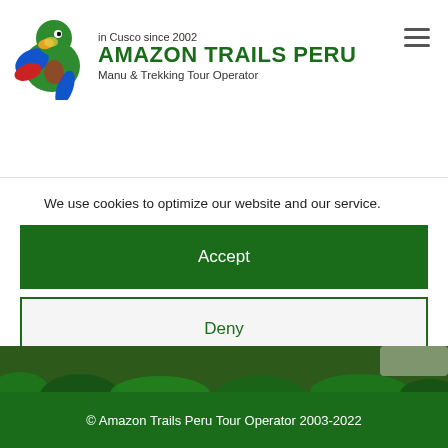in Cusco since 2002 | AMAZON TRAILS PERU | Manu & Trekking Tour Operator
We use cookies to optimize our website and our service.
Accept
Deny
Preferences
Cookie policy  Privacy Policy  Company details
© Amazon Trails Peru Tour Operator 2003-2022